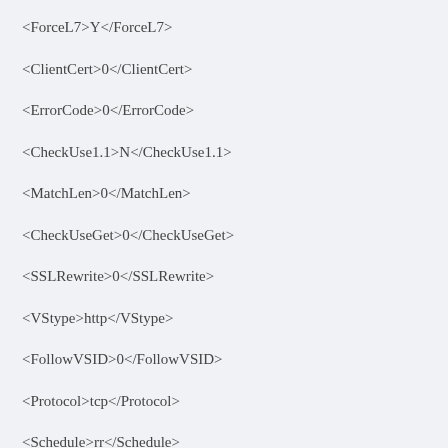<ForceL7>Y</ForceL7>
<ClientCert>0</ClientCert>
<ErrorCode>0</ErrorCode>
<CheckUse1.1>N</CheckUse1.1>
<MatchLen>0</MatchLen>
<CheckUseGet>0</CheckUseGet>
<SSLRewrite>0</SSLRewrite>
<VStype>http</VStype>
<FollowVSID>0</FollowVSID>
<Protocol>tcp</Protocol>
<Schedule>rr</Schedule>